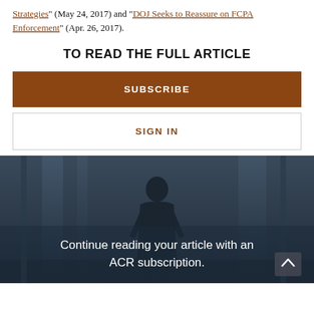Strategies" (May 24, 2017) and "DOJ Seeks to Reassure on FCPA Enforcement" (Apr. 26, 2017).
TO READ THE FULL ARTICLE
SUBSCRIBE
SIGN IN
[Figure (photo): Dark blurred office hallway with silhouette of a person standing, with overlay text: Continue reading your article with an ACR subscription.]